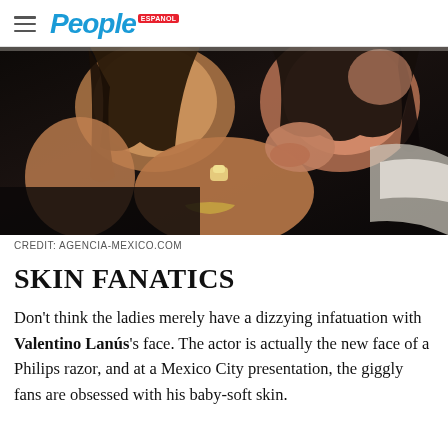People
[Figure (photo): Close-up photo of two women posing together, one with long brown hair wearing a black outfit, the other with dark hair. One has a prominent ring and bracelet visible on her hands.]
CREDIT: AGENCIA-MEXICO.COM
SKIN FANATICS
Don't think the ladies merely have a dizzying infatuation with Valentino Lanús's face. The actor is actually the new face of a Philips razor, and at a Mexico City presentation, the giggly fans are obsessed with his baby-soft skin.